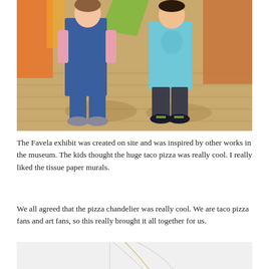[Figure (photo): Two children standing on a wooden floor in front of colorful fabric/sculpture backdrop. Left child wears denim overalls and a pink long-sleeve shirt with grey sneakers. Right child wears a light blue hoodie and dark grey pants with black sneakers.]
The Favela exhibit was created on site and was inspired by other works in the museum. The kids thought the huge taco pizza was really cool. I really liked the tissue paper murals.
We all agreed that the pizza chandelier was really cool. We are taco pizza fans and art fans, so this really brought it all together for us.
[Figure (photo): Bottom portion of a photo showing white walls with thin curved lines, partially visible.]